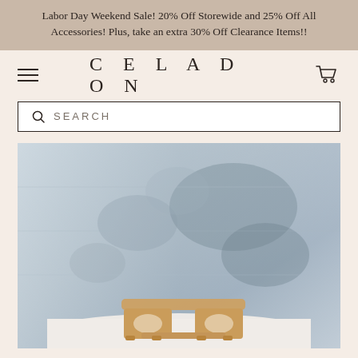Labor Day Weekend Sale! 20% Off Storewide and 25% Off All Accessories! Plus, take an extra 30% Off Clearance Items!!
CELADON
SEARCH
[Figure (photo): A wooden stool or low bench with curved cutouts, photographed against a weathered concrete wall background on a white surface.]